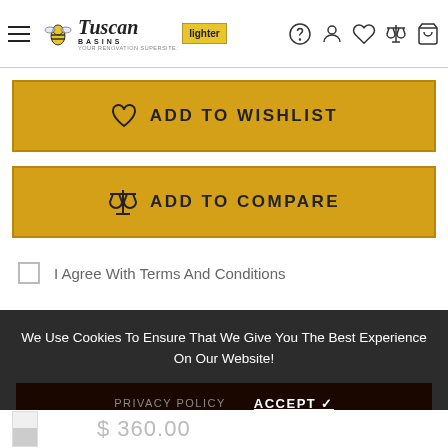Tuscan Basins — navigation header with logo and icons
[Figure (screenshot): ADD TO WISHLIST button — gold/amber colored button with heart icon and text]
[Figure (screenshot): ADD TO COMPARE button — gold/amber colored button with scales icon and text]
I Agree With Terms And Conditions
We Use Cookies To Ensure That We Give You The Best Experience On Our Website!
PRIVACY POLICY   ACCEPT ✓
$ 360.00